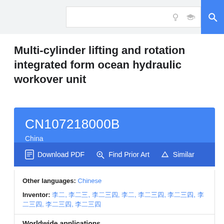[Figure (screenshot): Search bar with lightbulb icon, graduation cap icon, and blue search button with magnifying glass icon]
Multi-cylinder lifting and rotation integrated form ocean hydraulic workover unit
CN107218000B
China
Download PDF | Find Prior Art | Similar
Other languages: Chinese
Inventor: [Chinese characters]
Current Assignee: Sinopec Oilfield Equipment Corp, Sinopec Siji Petroleum Machinery Co Ltd
Worldwide applications